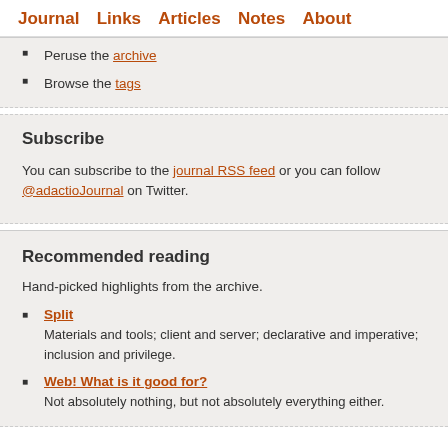Journal  Links  Articles  Notes  About
Peruse the archive
Browse the tags
Subscribe
You can subscribe to the journal RSS feed or you can follow @adactioJournal on Twitter.
Recommended reading
Hand-picked highlights from the archive.
Split
Materials and tools; client and server; declarative and imperative; inclusion and privilege.
Web! What is it good for?
Not absolutely nothing, but not absolutely everything either.